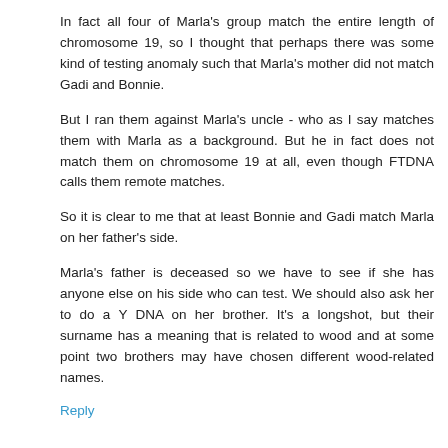In fact all four of Marla's group match the entire length of chromosome 19, so I thought that perhaps there was some kind of testing anomaly such that Marla's mother did not match Gadi and Bonnie.
But I ran them against Marla's uncle - who as I say matches them with Marla as a background. But he in fact does not match them on chromosome 19 at all, even though FTDNA calls them remote matches.
So it is clear to me that at least Bonnie and Gadi match Marla on her father's side.
Marla's father is deceased so we have to see if she has anyone else on his side who can test. We should also ask her to do a Y DNA on her brother. It's a longshot, but their surname has a meaning that is related to wood and at some point two brothers may have chosen different wood-related names.
Reply